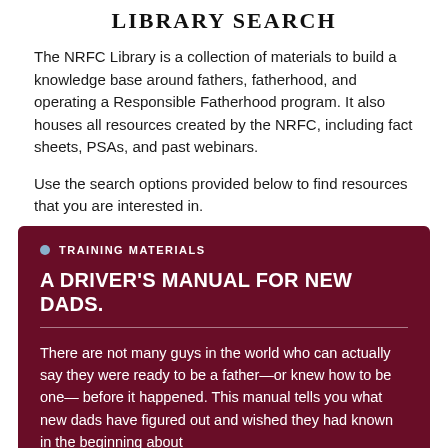LIBRARY SEARCH
The NRFC Library is a collection of materials to build a knowledge base around fathers, fatherhood, and operating a Responsible Fatherhood program. It also houses all resources created by the NRFC, including fact sheets, PSAs, and past webinars.
Use the search options provided below to find resources that you are interested in.
TRAINING MATERIALS
A DRIVER'S MANUAL FOR NEW DADS.
There are not many guys in the world who can actually say they were ready to be a father—or knew how to be one— before it happened. This manual tells you what new dads have figured out and wished they had known in the beginning about